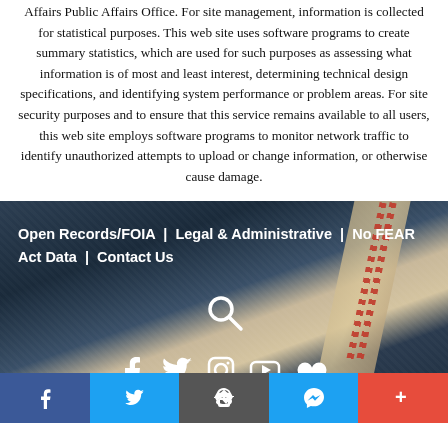Affairs Public Affairs Office. For site management, information is collected for statistical purposes. This web site uses software programs to create summary statistics, which are used for such purposes as assessing what information is of most and least interest, determining technical design specifications, and identifying system performance or problem areas. For site security purposes and to ensure that this service remains available to all users, this web site employs software programs to monitor network traffic to identify unauthorized attempts to upload or change information, or otherwise cause damage.
[Figure (screenshot): Website footer section with dark blue fabric/textile background image showing a seam with red stitching. Contains navigation links: Open Records/FOIA | Legal & Administrative | No FEAR Act Data | Contact Us, a search icon, social media icons (Facebook, Twitter, Instagram, YouTube, Flickr), and a bottom share bar with Facebook, Twitter, email, messenger, and more buttons.]